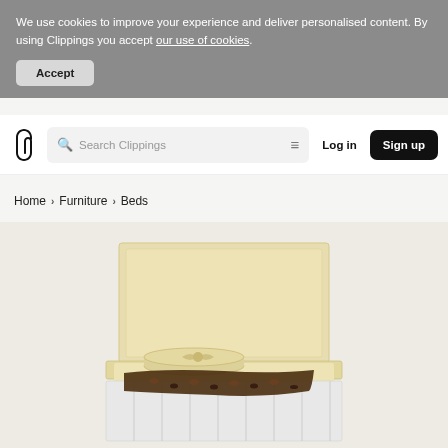We use cookies to improve your experience and deliver personalised content. By using Clippings you accept our use of cookies.
Accept
[Figure (logo): Clippings logo - stylized paperclip shape in black]
Search Clippings
Log in
Sign up
Home > Furniture > Beds
[Figure (photo): A cream/beige upholstered bed with a tall rectangular headboard, cream pillows with a bow, and a dark leopard print throw blanket draped across the foot of the bed. The bed has a slatted or ribbed base. Shot from a slightly elevated front angle on a light background.]